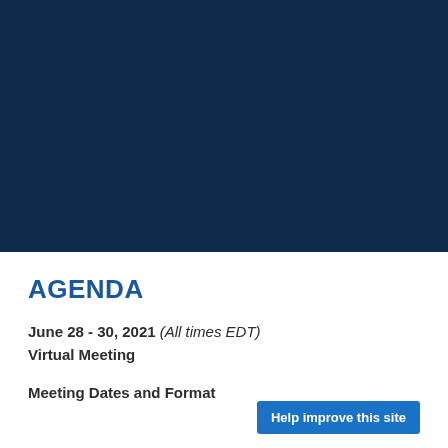[Figure (other): Dark navy blue banner/header image filling the top portion of the page]
AGENDA
June 28 - 30, 2021 (All times EDT)
Virtual Meeting
Meeting Dates and Format
Help improve this site